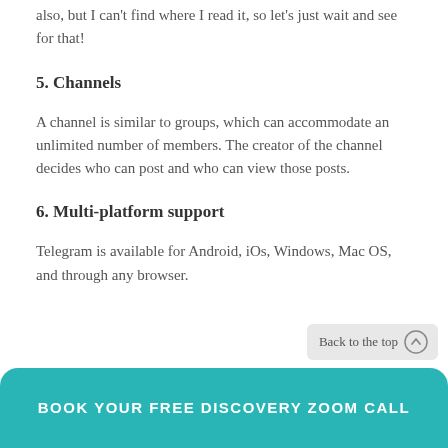also, but I can't find where I read it, so let's just wait and see for that!
5. Channels
A channel is similar to groups, which can accommodate an unlimited number of members. The creator of the channel decides who can post and who can view those posts.
6. Multi-platform support
Telegram is available for Android, iOs, Windows, Mac OS, and through any browser.
Back to the top
BOOK YOUR FREE DISCOVERY ZOOM CALL